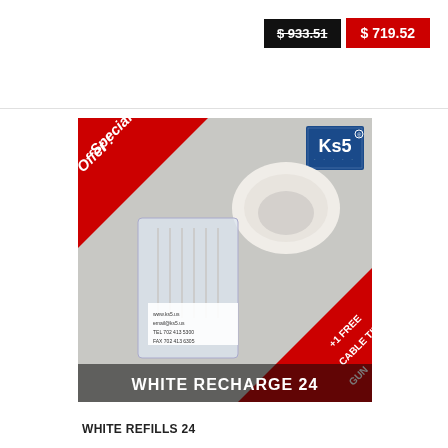$ 933.51  $ 719.52
[Figure (photo): Product photo showing WHITE RECHARGE 24 – a package of white cable tie refills in a plastic bag with a white cable tie gun head beside it. Red triangle in top-left corner reads 'Special Offer!', Ks5 logo in top-right, red triangle in bottom-right reads '+1 FREE CABLE TIE GUN'. Text at bottom reads 'WHITE RECHARGE 24'.]
WHITE REFILLS 24